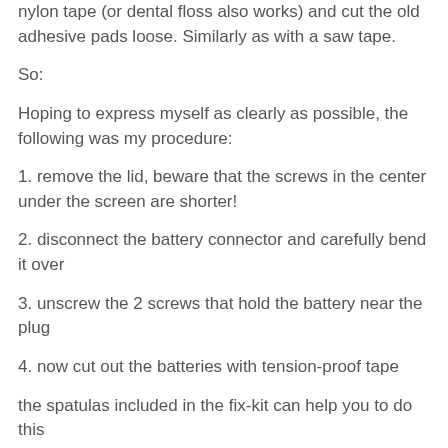nylon tape (or dental floss also works) and cut the old adhesive pads loose. Similarly as with a saw tape.
So:
Hoping to express myself as clearly as possible, the following was my procedure:
1. remove the lid, beware that the screws in the center under the screen are shorter!
2. disconnect the battery connector and carefully bend it over
3. unscrew the 2 screws that hold the battery near the plug
4. now cut out the batteries with tension-proof tape
the spatulas included in the fix-kit can help you to do this
the remaining glue can be easily removed with one of the plastic tools: first work a little bit with a spatula so that you can grip it with your fingers, then slowly and carefully pull it off in a direction away from the logic board